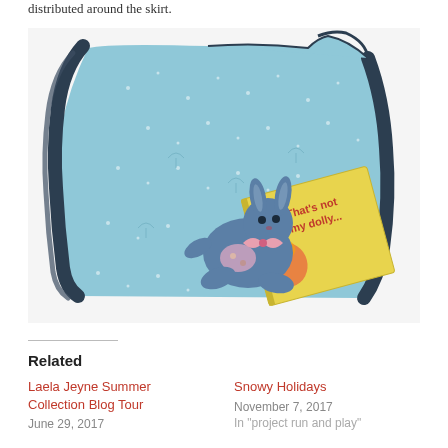distributed around the skirt.
[Figure (photo): A light blue children's dress with dark navy ruffled trim laid flat, with a stuffed blue bunny toy and a children's book titled 'That's not my dolly...' placed on top.]
Related
Laela Jeyne Summer Collection Blog Tour
June 29, 2017
Snowy Holidays
November 7, 2017
In "project run and play"